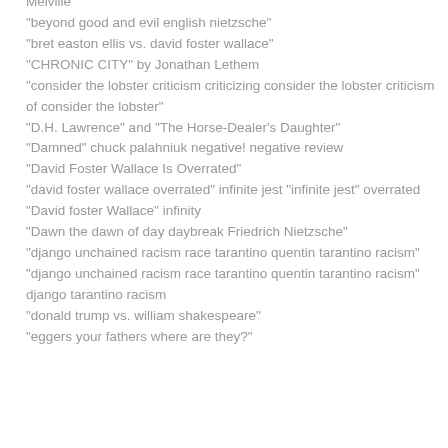Melville
"beyond good and evil english nietzsche"
"bret easton ellis vs. david foster wallace"
"CHRONIC CITY" by Jonathan Lethem
"consider the lobster criticism criticizing consider the lobster criticism of consider the lobster"
"D.H. Lawrence" and "The Horse-Dealer's Daughter"
"Damned" chuck palahniuk negative! negative review
"David Foster Wallace Is Overrated"
"david foster wallace overrated" infinite jest "infinite jest" overrated
"David foster Wallace" infinity
"Dawn the dawn of day daybreak Friedrich Nietzsche"
"django unchained racism race tarantino quentin tarantino racism"
"django unchained racism race tarantino quentin tarantino racism" django tarantino racism
"donald trump vs. william shakespeare"
"eggers your fathers where are they?"